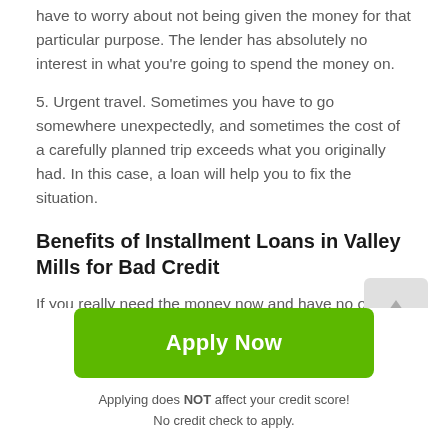have to worry about not being given the money for that particular purpose. The lender has absolutely no interest in what you're going to spend the money on.
5. Urgent travel. Sometimes you have to go somewhere unexpectedly, and sometimes the cost of a carefully planned trip exceeds what you originally had. In this case, a loan will help you to fix the situation.
Benefits of Installment Loans in Valley Mills for Bad Credit
If you really need the money now and have no other options than the loan, let's clarify, what are the advantages of installment loans...
[Figure (other): Scroll-up button arrow icon in light gray box]
Apply Now
Applying does NOT affect your credit score!
No credit check to apply.